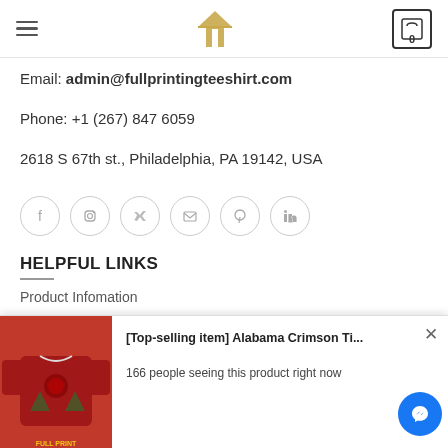Navigation header with hamburger menu, logo, and cart icon (0)
Email: admin@fullprintingteeshirt.com
Phone: +1 (267) 847 6059
2618 S 67th st., Philadelphia, PA 19142, USA
[Figure (infographic): Row of social media circular icon buttons: Facebook, Instagram, Twitter, Email, Pinterest, LinkedIn]
HELPFUL LINKS
Product Infomation
[Figure (screenshot): Popup notification showing Alabama Crimson Ti... sweater product with image, title '[Top-selling item] Alabama Crimson Ti...', text '166 people seeing this product right now', close X button, and Facebook Messenger button]
Contact Us